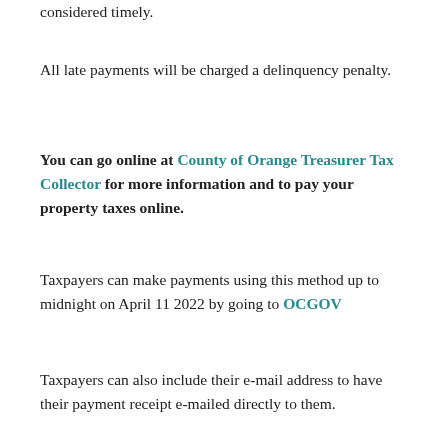considered timely.
All late payments will be charged a delinquency penalty.
You can go online at County of Orange Treasurer Tax Collector for more information and to pay your property taxes online.
Taxpayers can make payments using this method up to midnight on April 11 2022 by going to OCGOV
Taxpayers can also include their e-mail address to have their payment receipt e-mailed directly to them.